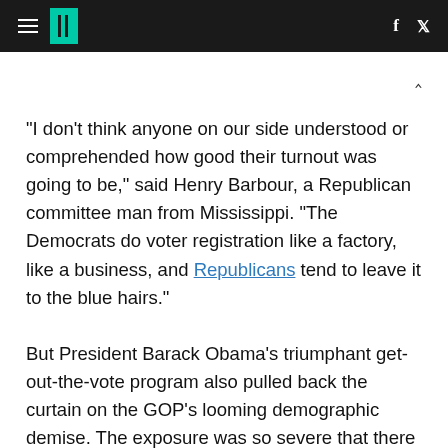HuffPost navigation header with hamburger menu, logo, Facebook and Twitter icons
"I don't think anyone on our side understood or comprehended how good their turnout was going to be," said Henry Barbour, a Republican committee man from Mississippi. "The Democrats do voter registration like a factory, like a business, and Republicans tend to leave it to the blue hairs."
But President Barack Obama's triumphant get-out-the-vote program also pulled back the curtain on the GOP's looming demographic demise. The exposure was so severe that there will be few